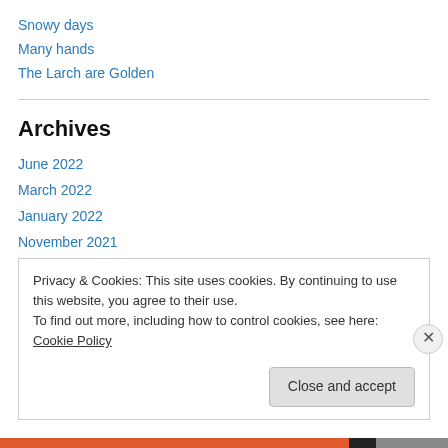Snowy days
Many hands
The Larch are Golden
Archives
June 2022
March 2022
January 2022
November 2021
October 2021
August 2021
Privacy & Cookies: This site uses cookies. By continuing to use this website, you agree to their use.
To find out more, including how to control cookies, see here: Cookie Policy
Close and accept